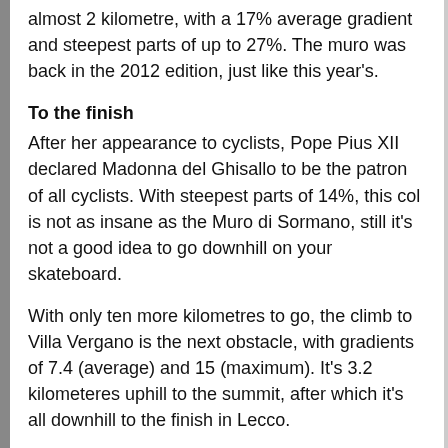almost 2 kilometre, with a 17% average gradient and steepest parts of up to 27%. The muro was back in the 2012 edition, just like this year's.
To the finish
After her appearance to cyclists, Pope Pius XII declared Madonna del Ghisallo to be the patron of all cyclists. With steepest parts of 14%, this col is not as insane as the Muro di Sormano, still it's not a good idea to go downhill on your skateboard.
With only ten more kilometres to go, the climb to Villa Vergano is the next obstacle, with gradients of 7.4 (average) and 15 (maximum). It's 3.2 kilometeres uphill to the summit, after which it's all downhill to the finish in Lecco.
Il Lombardia never was a sprinter's party in the first place. But a rider who definitely will not compete for today's victory is Mark Cavendish. Cav is going to get married the